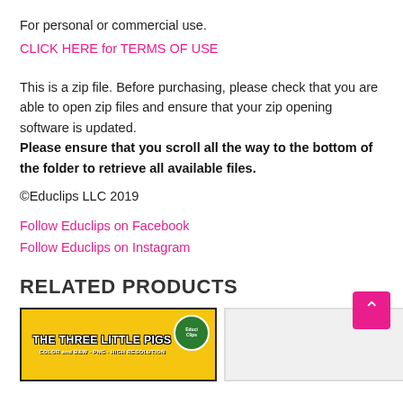For personal or commercial use.
CLICK HERE for TERMS OF USE
This is a zip file. Before purchasing, please check that you are able to open zip files and ensure that your zip opening software is updated. Please ensure that you scroll all the way to the bottom of the folder to retrieve all available files.
©Educlips LLC 2019
Follow Educlips on Facebook
Follow Educlips on Instagram
RELATED PRODUCTS
[Figure (photo): Product thumbnail for The Three Little Pigs with yellow background and circular green badge logo]
[Figure (photo): Second related product thumbnail, light gray/white background, partially visible]